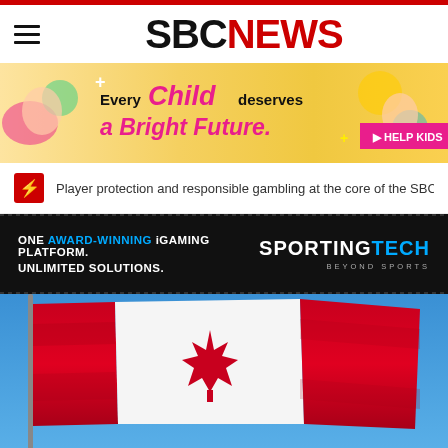SBC NEWS
[Figure (illustration): Colorful charity advertisement banner: 'Every Child deserves a Bright Future.' with a HELP KIDS button, featuring illustrated children on a colorful background.]
Player protection and responsible gambling at the core of the SBC Summit Ba...
[Figure (illustration): Sportingtech advertisement: 'ONE AWARD-WINNING iGAMING PLATFORM. UNLIMITED SOLUTIONS.' with Sportingtech Beyond Sports logo on dark background.]
[Figure (photo): Canadian flag waving against a clear blue sky on a flagpole.]